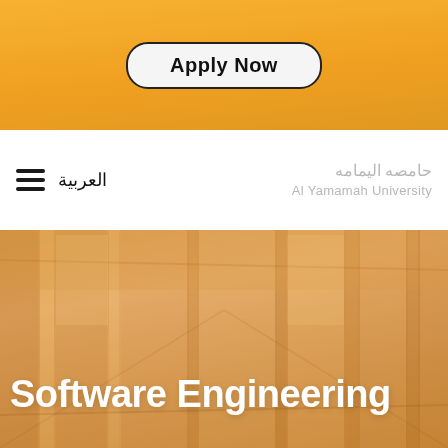Apply Now
العربية | حامصه اليمامه Al Yamamah University
[Figure (photo): Hero background image of a university building corridor with an orange-warm tone overlay]
Software Engineering